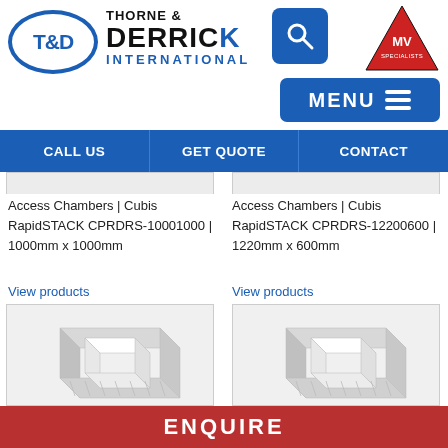[Figure (logo): Thorne & Derrick International logo with T&D oval and company name, search icon, MV Specialists triangle logo, and MENU button]
CALL US | GET QUOTE | CONTACT
Access Chambers | Cubis RapidSTACK CPRDRS-10001000 | 1000mm x 1000mm
View products
Access Chambers | Cubis RapidSTACK CPRDRS-12200600 | 1220mm x 600mm
View products
[Figure (photo): White square access chamber unit - 1000mm x 1000mm]
[Figure (photo): White square access chamber unit - 1220mm x 600mm]
ENQUIRE